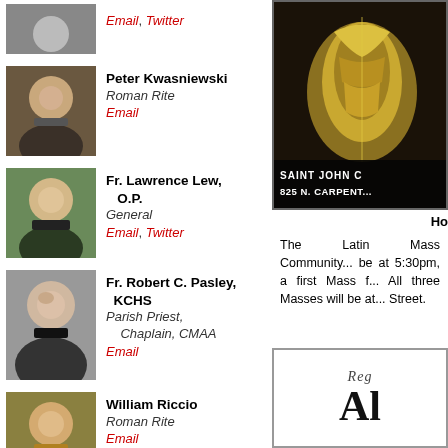Email, Twitter
Peter Kwasniewski
Roman Rite
Email
Fr. Lawrence Lew, O.P.
General
Email, Twitter
Fr. Robert C. Pasley, KCHS
Parish Priest, Chaplain, CMAA
Email
William Riccio
Roman Rite
Email
Henri Adam de Villiers
General
Email
[Figure (photo): Church vestment/religious image with text overlay: SAINT JOHN C... / 825 N. CARPENT...]
Ho...
The Latin Mass Community... be at 5:30pm, a first Mass f... All three Masses will be at... Street.
[Figure (illustration): Decorative box with italic script: Req... and large serif text: Al]